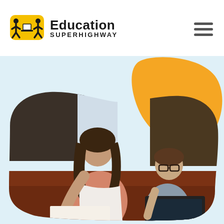[Figure (logo): Education Superhighway logo with yellow icon of two figures flanking a laptop, and text 'Education SUPERHIGHWAY']
[Figure (photo): A woman leaning over a child who is sitting at a table using a laptop, appearing to help with schoolwork, in a home kitchen setting. An orange blob shape decorates the background upper right.]